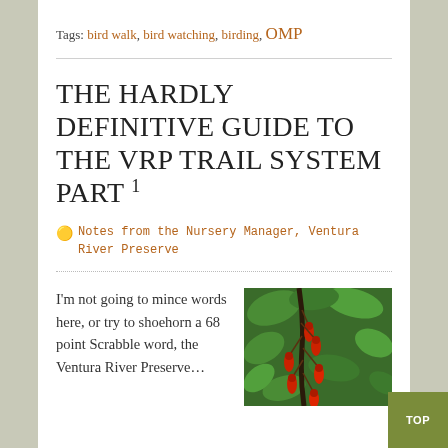Tags: bird walk, bird watching, birding, OMP
THE HARDLY DEFINITIVE GUIDE TO THE VRP TRAIL SYSTEM PART 1
Notes from the Nursery Manager, Ventura River Preserve
[Figure (photo): Red tubular flowers hanging from a branch with green leaves in the background]
I'm not going to mince words here, or try to shoehorn a 68 point Scrabble word, the Ventura River Preserve…